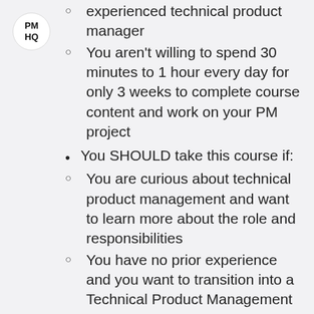PM HQ
experienced technical product manager
You aren't willing to spend 30 minutes to 1 hour every day for only 3 weeks to complete course content and work on your PM project
You SHOULD take this course if:
You are curious about technical product management and want to learn more about the role and responsibilities
You have no prior experience and you want to transition into a Technical Product Management role
You are trying to determine if